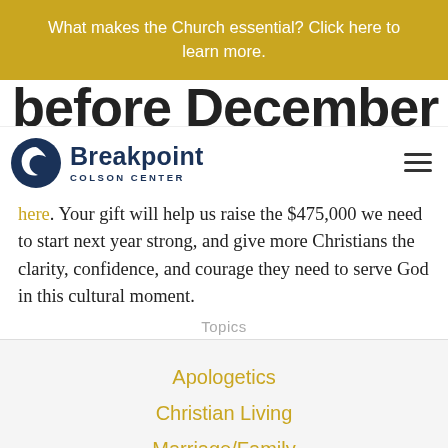What makes the Church essential? Click here to learn more.
before December 31
[Figure (logo): Breakpoint Colson Center logo with crescent moon/person icon and bold text]
here. Your gift will help us raise the $475,000 we need to start next year strong, and give more Christians the clarity, confidence, and courage they need to serve God in this cultural moment.
Topics
Apologetics
Christian Living
Marriage/Family